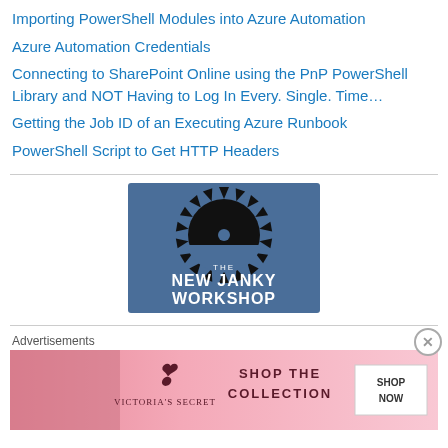Importing PowerShell Modules into Azure Automation
Azure Automation Credentials
Connecting to SharePoint Online using the PnP PowerShell Library and NOT Having to Log In Every. Single. Time…
Getting the Job ID of an Executing Azure Runbook
PowerShell Script to Get HTTP Headers
[Figure (logo): The New Janky Workshop logo — blue square background with a black circular saw blade silhouette and white text reading 'THE NEW JANKY WORKSHOP']
Advertisements
[Figure (illustration): Victoria's Secret advertisement banner: pink background with woman, VS logo, 'SHOP THE COLLECTION' text, and 'SHOP NOW' button]